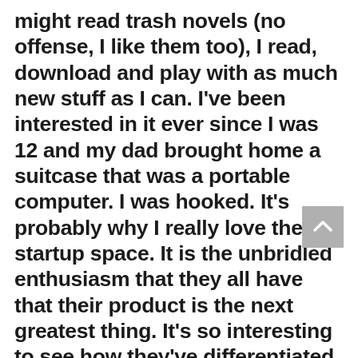might read trash novels (no offense, I like them too), I read, download and play with as much new stuff as I can. I've been interested in it ever since I was 12 and my dad brought home a suitcase that was a portable computer. I was hooked. It's probably why I really love the startup space. It is the unbridled enthusiasm that they all have that their product is the next greatest thing. It's so interesting to see how they've differentiated themselves or not.  Many haven't, some haven't taken it far eno and others are just really